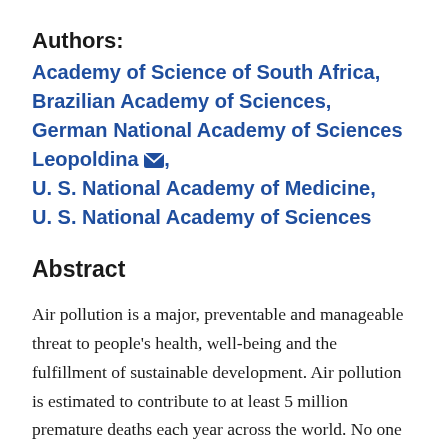Authors:
Academy of Science of South Africa, Brazilian Academy of Sciences, German National Academy of Sciences Leopoldina [email], U. S. National Academy of Medicine, U. S. National Academy of Sciences
Abstract
Air pollution is a major, preventable and manageable threat to people's health, well-being and the fulfillment of sustainable development. Air pollution is estimated to contribute to at least 5 million premature deaths each year across the world. No one remains unaffected by dirty air, but the adverse impacts of air